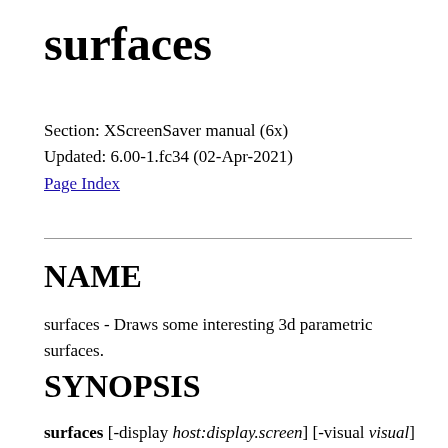surfaces
Section: XScreenSaver manual (6x)
Updated: 6.00-1.fc34 (02-Apr-2021)
Page Index
NAME
surfaces - Draws some interesting 3d parametric surfaces.
SYNOPSIS
surfaces [-display host:display.screen] [-visual visual] [-window] [-root] [-speed